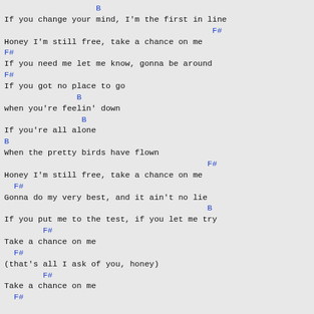B
If you change your mind, I'm the first in line
                                           F#
Honey I'm still free, take a chance on me
F#
If you need me let me know, gonna be around
F#
If you got no place to go
               B
when you're feelin' down
                B
If you're all alone
B
When the pretty birds have flown
                                          F#
Honey I'm still free, take a chance on me
  F#
Gonna do my very best, and it ain't no lie
                                          B
If you put me to the test, if you let me try
        F#
Take a chance on me
  F#
(that's all I ask of you, honey)
        F#
Take a chance on me
  F#